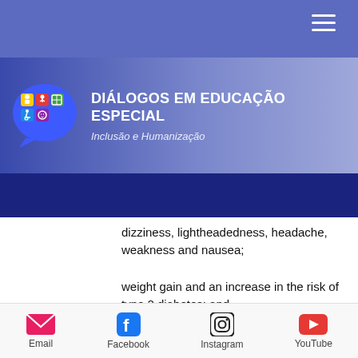[Figure (logo): Navigation bar with hamburger menu icon on a blue/indigo background]
used
[Figure (logo): Diálogos em Educação Especial website header banner with logo bubble containing inclusive education icons, title 'DIÁLOGOS EM EDUCAÇÃO ESPECIAL' and subtitle 'Inclusão e Humanização']
ative
dizziness, lightheadedness, headache, weakness and nausea;
weight gain and an increase in the risk of type 2 diabetes; and
dopamine levels increase during the recovery period.
The more steroids you take, the greater
Email   Facebook   Instagram   YouTube